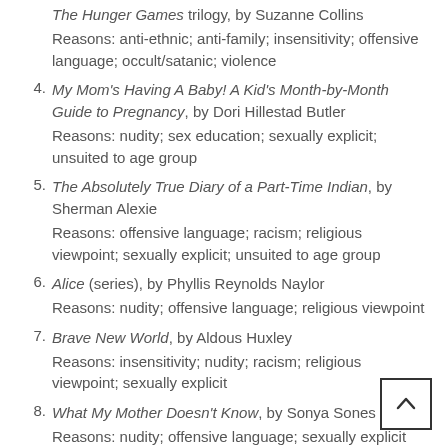The Hunger Games trilogy, by Suzanne Collins
Reasons: anti-ethnic; anti-family; insensitivity; offensive language; occult/satanic; violence
My Mom's Having A Baby! A Kid's Month-by-Month Guide to Pregnancy, by Dori Hillestad Butler
Reasons: nudity; sex education; sexually explicit; unsuited to age group
The Absolutely True Diary of a Part-Time Indian, by Sherman Alexie
Reasons: offensive language; racism; religious viewpoint; sexually explicit; unsuited to age group
Alice (series), by Phyllis Reynolds Naylor
Reasons: nudity; offensive language; religious viewpoint
Brave New World, by Aldous Huxley
Reasons: insensitivity; nudity; racism; religious viewpoint; sexually explicit
What My Mother Doesn't Know, by Sonya Sones
Reasons: nudity; offensive language; sexually explicit